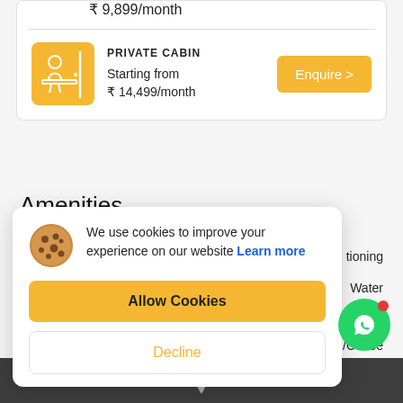₹ 9,899/month
PRIVATE CABIN
Starting from ₹ 14,499/month
Enquire >
Amenities
We use cookies to improve your experience on our website Learn more
Allow Cookies
Decline
tioning
Water
Table
/Coffee